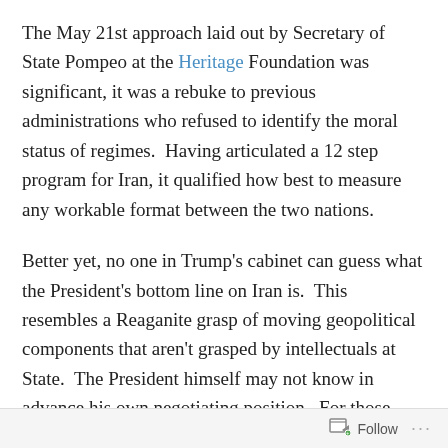The May 21st approach laid out by Secretary of State Pompeo at the Heritage Foundation was significant, it was a rebuke to previous administrations who refused to identify the moral status of regimes.  Having articulated a 12 step program for Iran, it qualified how best to measure any workable format between the two nations.
Better yet, no one in Trump's cabinet can guess what the President's bottom line on Iran is.  This resembles a Reaganite grasp of moving geopolitical components that aren't grasped by intellectuals at State.  The President himself may not know in advance his own negotiating position.  For those aping for policy clarity, they need to acknowledge the supremacy of adjudicating while moving forward.
Follow ···